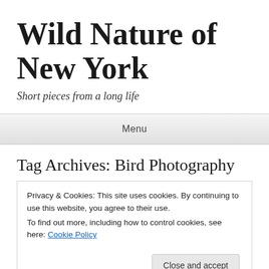Wild Nature of New York
Short pieces from a long life
Menu
Tag Archives: Bird Photography
Privacy & Cookies: This site uses cookies. By continuing to use this website, you agree to their use.
To find out more, including how to control cookies, see here: Cookie Policy
Close and accept
Posted on February 21, 2018 by stephanieurdang